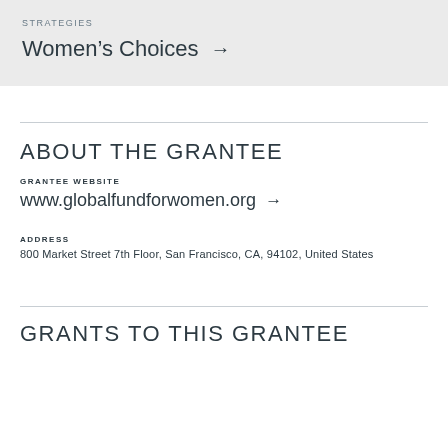STRATEGIES
Women's Choices →
ABOUT THE GRANTEE
GRANTEE WEBSITE
www.globalfundforwomen.org →
ADDRESS
800 Market Street 7th Floor, San Francisco, CA, 94102, United States
GRANTS TO THIS GRANTEE